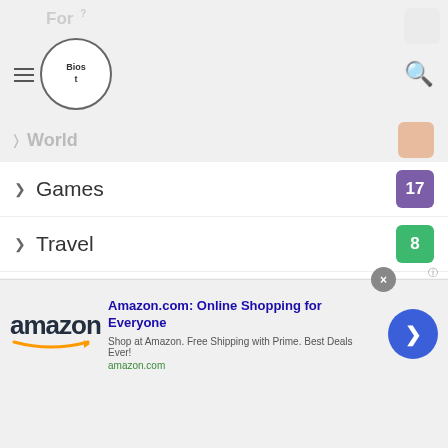Navigation menu header with logo and search
Games 17
Travel 8
Foods 8
Travels & Tours 3
Lifestyle 47
Home Improvement 20
Fashion 10
Entertainment
[Figure (screenshot): Amazon advertisement banner with logo, title 'Amazon.com: Online Shopping for Everyone', subtitle 'Shop at Amazon. Free Shipping with Prime. Best Deals Ever!', url amazon.com, and blue circular arrow button]